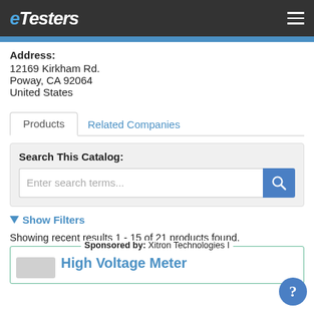eTesters
Address:
12169 Kirkham Rd.
Poway, CA 92064
United States
Products | Related Companies
Search This Catalog:
Enter search terms...
▼ Show Filters
Showing recent results 1 - 15 of 21 products found.
Sponsored by: Xitron Technologies High Voltage Meter